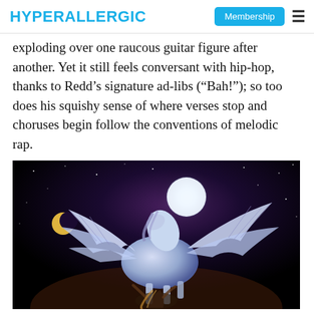HYPERALLERGIC | Membership
exploding over one raucous guitar figure after another. Yet it still feels conversant with hip-hop, thanks to Redd’s signature ad-libs (“Bah!”); so too does his squishy sense of where verses stop and choruses begin follow the conventions of melodic rap.
[Figure (illustration): A fantastical digital illustration of a winged white horse (Pegasus) rearing up against a dark night sky, with a glowing full moon above and a crescent moon to the left, stars visible in the background, and a person beneath the horse.]